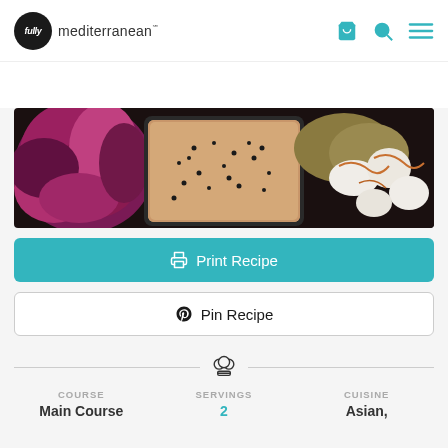fully mediterranean℠
[Figure (photo): Overhead close-up of a food platter showing purple/red shredded cabbage on the left, a square dark bowl filled with creamy sesame sauce topped with black sesame seeds in the center, and grilled scallops or similar seafood with caramel drizzle on the right, on a dark background]
Print Recipe
Pin Recipe
COURSE
Main Course
SERVINGS
2
CUISINE
Asian,